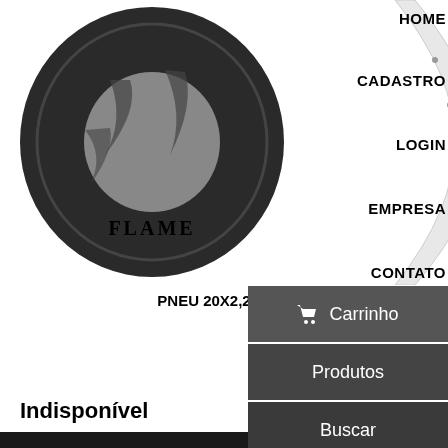[Figure (photo): Black bicycle tire with FLAME label and white rim, product images side by side]
PNEU 20X2,25 58-406 KENDA FLAME PRETO
KENDA
Indisponível
> SAIBA MAIS
HOME
CADASTRO
LOGIN
EMPRESA
CONTATO
Carrinho
Produtos
Buscar